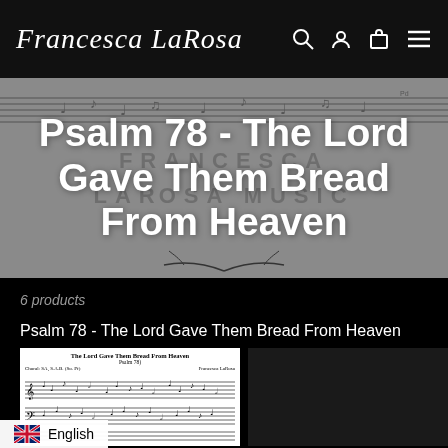Francesca LaRosa
Psalm 78 - The Lord Gave Them Bread From Heaven
6 products
Psalm 78 - The Lord Gave Them Bread From Heaven
[Figure (screenshot): Sheet music thumbnail showing 'The Lord Gave Them Bread From Heaven (Psalm 78)' by Francesca LaRosa, with musical staff notation]
English